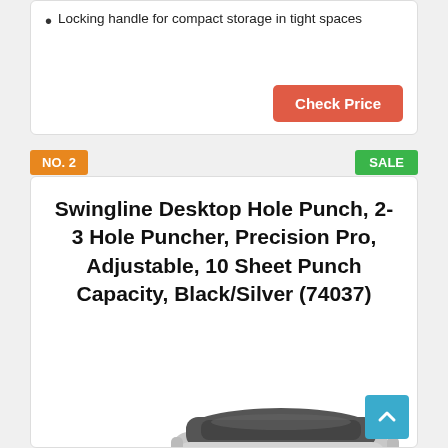Locking handle for compact storage in tight spaces
Check Price
NO. 2
SALE
Swingline Desktop Hole Punch, 2- 3 Hole Puncher, Precision Pro, Adjustable, 10 Sheet Punch Capacity, Black/Silver (74037)
[Figure (photo): A Swingline desktop hole punch in black and silver color, photographed from a slightly elevated angle showing the top and front of the device.]